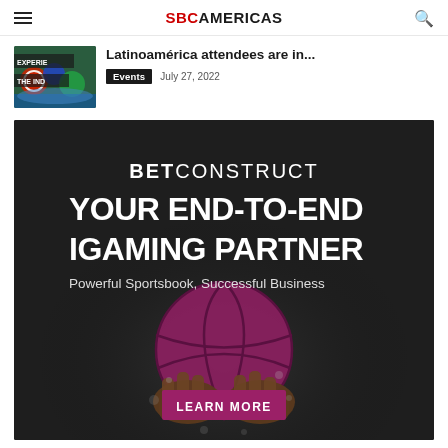SBC AMERICAS
Latinoamérica attendees are in...
Events  July 27, 2022
[Figure (photo): BetConstruct advertisement banner with dark background, basketball held by hands, text: BETCONSTRUCT YOUR END-TO-END IGAMING PARTNER Powerful Sportsbook, Successful Business LEARN MORE]